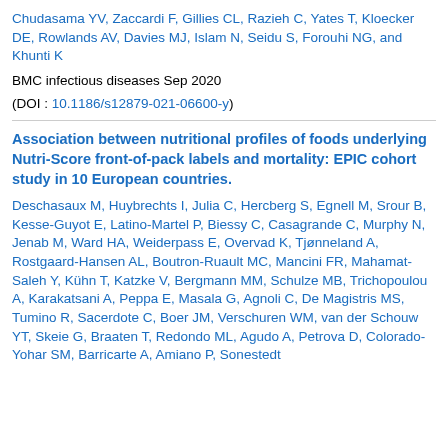Chudasama YV, Zaccardi F, Gillies CL, Razieh C, Yates T, Kloecker DE, Rowlands AV, Davies MJ, Islam N, Seidu S, Forouhi NG, and Khunti K
BMC infectious diseases Sep 2020
(DOI : 10.1186/s12879-021-06600-y)
Association between nutritional profiles of foods underlying Nutri-Score front-of-pack labels and mortality: EPIC cohort study in 10 European countries.
Deschasaux M, Huybrechts I, Julia C, Hercberg S, Egnell M, Srour B, Kesse-Guyot E, Latino-Martel P, Biessy C, Casagrande C, Murphy N, Jenab M, Ward HA, Weiderpass E, Overvad K, Tjønneland A, Rostgaard-Hansen AL, Boutron-Ruault MC, Mancini FR, Mahamat-Saleh Y, Kühn T, Katzke V, Bergmann MM, Schulze MB, Trichopoulou A, Karakatsani A, Peppa E, Masala G, Agnoli C, De Magistris MS, Tumino R, Sacerdote C, Boer JM, Verschuren WM, van der Schouw YT, Skeie G, Braaten T, Redondo ML, Agudo A, Petrova D, Colorado-Yohar SM, Barricarte A, Amiano P, Sonestedt